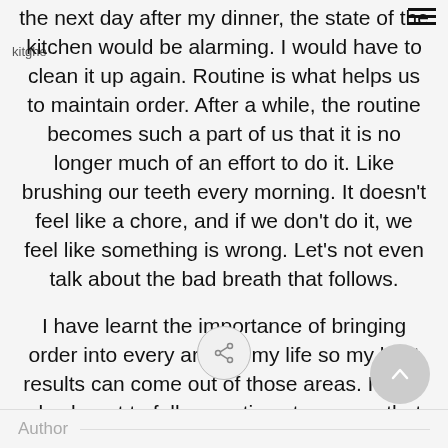the next day after my dinner, the state of the kitchen would be alarming. I would have to clean it up again. Routine is what helps us to maintain order. After a while, the routine becomes such a part of us that it is no longer much of an effort to do it. Like brushing our teeth every morning. It doesn't feel like a chore, and if we don't do it, we feel like something is wrong. Let's not even talk about the bad breath that follows.
I have learnt the importance of bringing order into every area of my life so my best results can come out of those areas. I have also learnt to follow routines to ensure that my order is maintained.
[Figure (other): Share button icon — circular button with share/network icon]
[Figure (other): Scroll-to-top button — grey circular button with upward chevron arrow]
Author